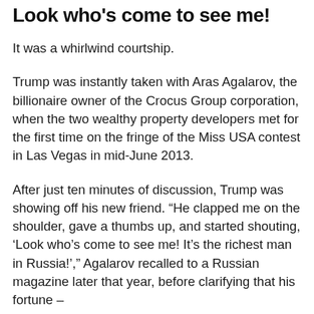Look who's come to see me!
It was a whirlwind courtship.
Trump was instantly taken with Aras Agalarov, the billionaire owner of the Crocus Group corporation, when the two wealthy property developers met for the first time on the fringe of the Miss USA contest in Las Vegas in mid-June 2013.
After just ten minutes of discussion, Trump was showing off his new friend. “He clapped me on the shoulder, gave a thumbs up, and started shouting, ‘Look who’s come to see me! It’s the richest man in Russia!’,” Agalarov recalled to a Russian magazine later that year, before clarifying that his fortune –